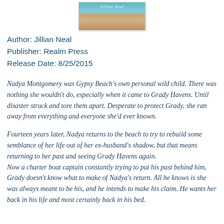[Figure (illustration): Book cover image showing 'Jillian Neal' text over a beach/ocean background with warm tones]
Author: Jillian Neal
Publisher: Realm Press
Release Date: 8/25/2015
Nadya Montgomery was Gypsy Beach's own personal wild child. There was nothing she wouldn't do, especially when it came to Grady Havens. Until disaster struck and tore them apart. Desperate to protect Grady, she ran away from everything and everyone she'd ever known.
Fourteen years later, Nadya returns to the beach to try to rebuild some semblance of her life out of her ex-husband's shadow, but that means returning to her past and seeing Grady Havens again.
Now a charter boat captain constantly trying to put his past behind him, Grady doesn't know what to make of Nadya's return. All he knows is she was always meant to be his, and he intends to make his claim. He wants her back in his life and most certainly back in his bed.